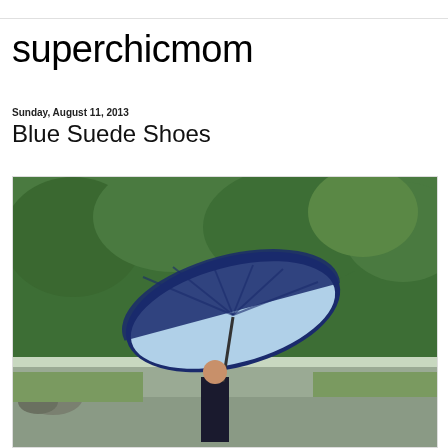superchicmom
Sunday, August 11, 2013
Blue Suede Shoes
[Figure (photo): Person walking outdoors in the rain holding a large navy blue umbrella with light blue interior, with green trees and grass in the background]